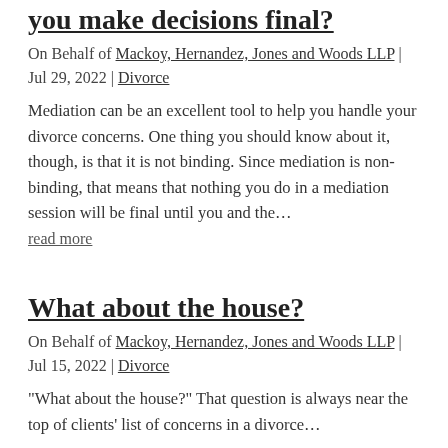you make decisions final?
On Behalf of Mackoy, Hernandez, Jones and Woods LLP | Jul 29, 2022 | Divorce
Mediation can be an excellent tool to help you handle your divorce concerns. One thing you should know about it, though, is that it is not binding. Since mediation is non-binding, that means that nothing you do in a mediation session will be final until you and the…
read more
What about the house?
On Behalf of Mackoy, Hernandez, Jones and Woods LLP | Jul 15, 2022 | Divorce
“What about the house?” That question is always near the top of clients’ list of concerns in a divorce…